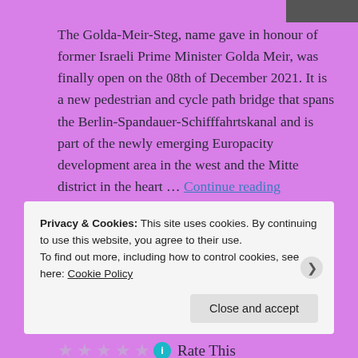[Figure (photo): Partial photo in top-right corner, showing a dark image, partially cropped]
The Golda-Meir-Steg, name gave in honour of former Israeli Prime Minister Golda Meir, was finally open on the 08th of December 2021. It is a new pedestrian and cycle path bridge that spans the Berlin-Spandauer-Schifffahrtskanal and is part of the newly emerging Europacity development area in the west and the Mitte district in the heart … Continue reading
RATE THIS:
★★★★★ ℹ Rate This
Privacy & Cookies: This site uses cookies. By continuing to use this website, you agree to their use.
To find out more, including how to control cookies, see here: Cookie Policy
Close and accept